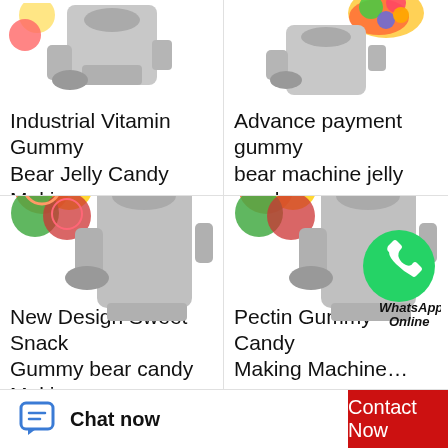[Figure (photo): Industrial Vitamin Gummy Bear Jelly Candy Making Machine product image - top portion cropped]
Industrial Vitamin Gummy Bear Jelly Candy Making…
[Figure (photo): Advance payment gummy bear machine jelly candy product image with colorful gummy bears]
Advance payment gummy bear machine jelly candy…
[Figure (photo): New Design Sweet Snack Gummy bear candy Making machine with colorful candy circles]
New Design Sweet Snack Gummy bear candy Maki…
[Figure (photo): Pectin Gummy Candy Making Machine with candy circles and WhatsApp Online badge]
Pectin Gummy Candy Making Machine…
Chat now
Contact Now